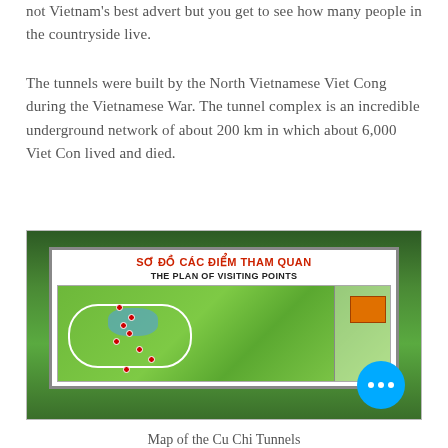not Vietnam's best advert but you get to see how many people in the countryside live.
The tunnels were built by the North Vietnamese Viet Cong during the Vietnamese War. The tunnel complex is an incredible underground network of about 200 km in which about 6,000 Viet Con lived and died.
[Figure (photo): Photograph of an outdoor sign board at Cu Chi Tunnels showing a map titled 'SƠ ĐỒ CÁC ĐIỂM THAM QUAN / THE PLAN OF VISITING POINTS' with a green illustrated map of the tunnel site, surrounded by trees.]
Map of the Cu Chi Tunnels